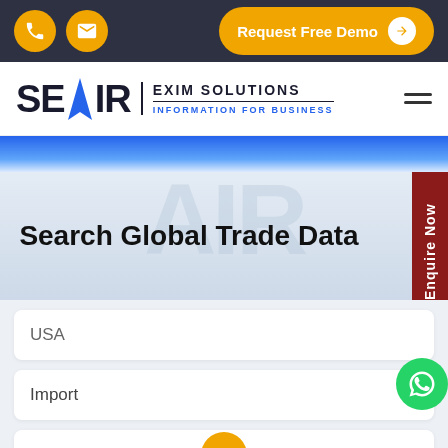SEAIR EXIM SOLUTIONS — Request Free Demo
[Figure (logo): SEAIR Exim Solutions logo with tagline INFORMATION FOR BUSINESS]
Search Global Trade Data
USA
Import
76151030
Enquire Now